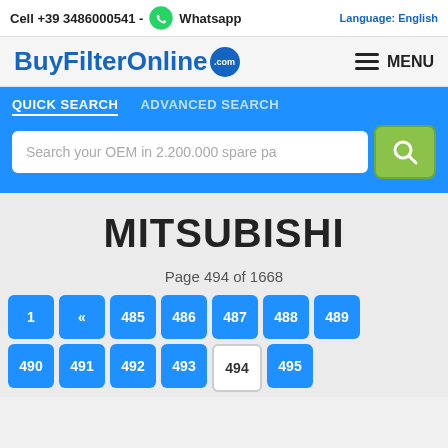Cell +39 3486000541 - Whatsapp
BuyFilterOnline.com
MENU
QUICK SEARCH   ADVANCED SEARCH
Search your OEM in 2.200.000 spare pa
MITSUBISHI
Page 494 of 1668
1 « 485 486 487 488 489
490 491 492 493 494 495